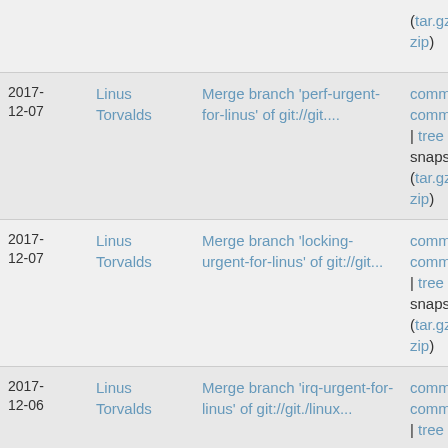| Date | Author | Description | Links |
| --- | --- | --- | --- |
|  |  | (tar.gz zip) |  |
| 2017-12-07 | Linus Torvalds | Merge branch 'perf-urgent-for-linus' of git://git.... | commit | commitdiff | tree | snapshot (tar.gz zip) |
| 2017-12-07 | Linus Torvalds | Merge branch 'locking-urgent-for-linus' of git://git... | commit | commitdiff | tree | snapshot (tar.gz zip) |
| 2017-12-06 | Linus Torvalds | Merge branch 'irq-urgent-for-linus' of git://git./linux... | commit | commitdiff | tree | snapshot (tar.gz zip) |
| 2017-12-06 | Linus Torvalds | Merge branch 'efi-urgent-for-linus' of git://git./linux... | commit | commitdiff | tree |